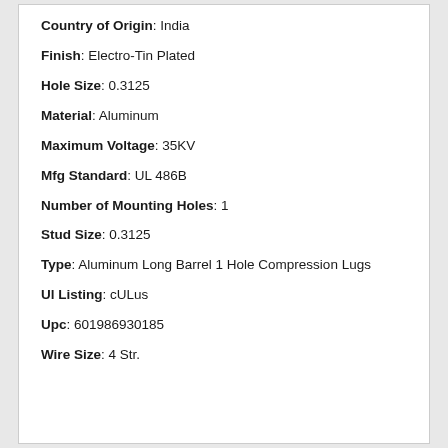Country of Origin: India
Finish: Electro-Tin Plated
Hole Size: 0.3125
Material: Aluminum
Maximum Voltage: 35KV
Mfg Standard: UL 486B
Number of Mounting Holes: 1
Stud Size: 0.3125
Type: Aluminum Long Barrel 1 Hole Compression Lugs
Ul Listing: cULus
Upc: 601986930185
Wire Size: 4 Str.